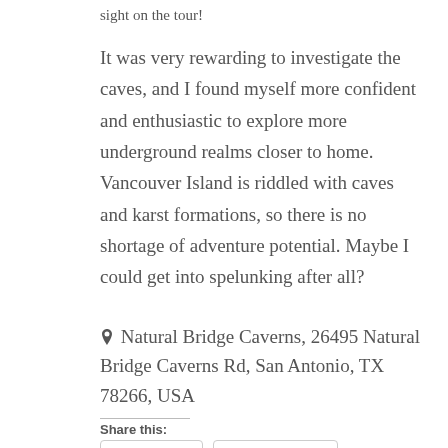sight on the tour!
It was very rewarding to investigate the caves, and I found myself more confident and enthusiastic to explore more underground realms closer to home. Vancouver Island is riddled with caves and karst formations, so there is no shortage of adventure potential. Maybe I could get into spelunking after all?
📍 Natural Bridge Caverns, 26495 Natural Bridge Caverns Rd, San Antonio, TX 78266, USA
Share this:
Twitter  Facebook